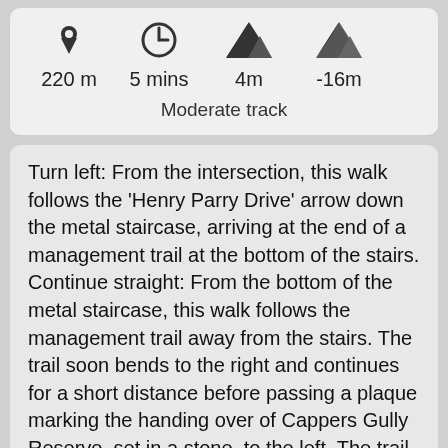[Figure (infographic): Row of four icons: location pin, clock, uphill mountain, downhill mountain. Below each icon: 220 m, 5 mins, 4m, -16m. Below all: Moderate track.]
Turn left: From the intersection, this walk follows the 'Henry Parry Drive' arrow down the metal staircase, arriving at the end of a management trail at the bottom of the stairs. Continue straight: From the bottom of the metal staircase, this walk follows the management trail away from the stairs. The trail soon bends to the right and continues for a short distance before passing a plaque marking the handing over of Cappers Gully Reserve, set in a stone, to the left. The trail continues a little further to an intersection just before the gate at the back of the 2GO radio station car park. The intersection is marked with a pair of track arrows on a wooden post.
(1.16km) Back gate of 2GO car park →